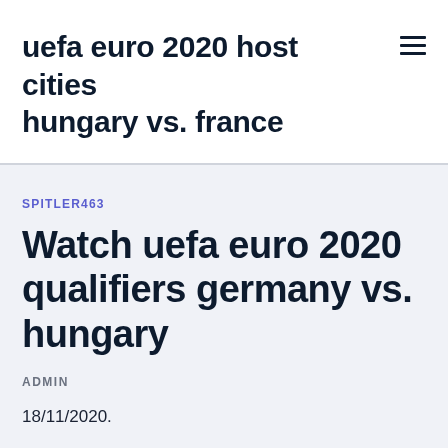uefa euro 2020 host cities hungary vs. france
SPITLER463
Watch uefa euro 2020 qualifiers germany vs. hungary
ADMIN
18/11/2020.
· Portugal take on Hungary in UEFA EURO 2020 Group